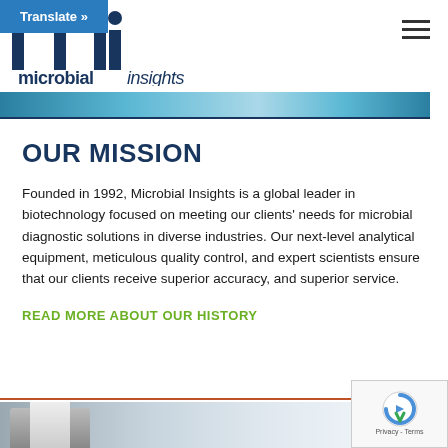Translate »
[Figure (logo): Microbial Insights logo with stylized 'mi' letterform in dark blue and italic text 'microbialinsights']
OUR MISSION
Founded in 1992, Microbial Insights is a global leader in biotechnology focused on meeting our clients' needs for microbial diagnostic solutions in diverse industries. Our next-level analytical equipment, meticulous quality control, and expert scientists ensure that our clients receive superior accuracy, and superior service.
READ MORE ABOUT OUR HISTORY